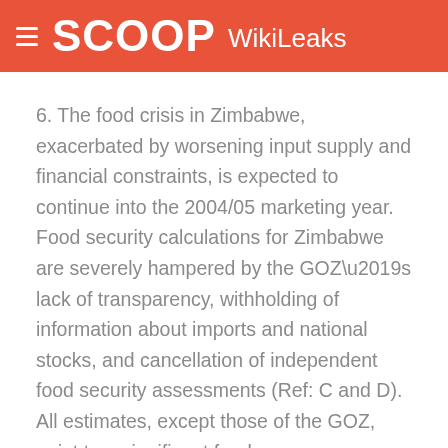SCOOP WikiLeaks
6. The food crisis in Zimbabwe, exacerbated by worsening input supply and financial constraints, is expected to continue into the 2004/05 marketing year. Food security calculations for Zimbabwe are severely hampered by the GOZ’s lack of transparency, withholding of information about imports and national stocks, and cancellation of independent food security assessments (Ref: C and D). All estimates, except those of the GOZ, point to a significant food gap.
----------------
Mission request